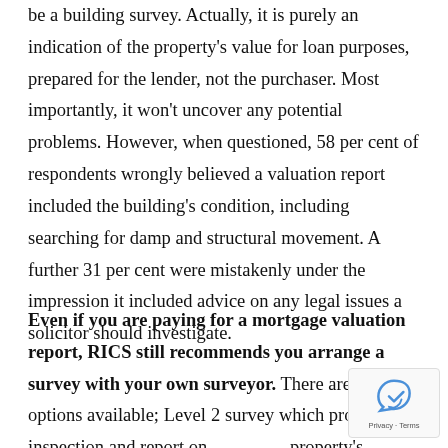be a building survey. Actually, it is purely an indication of the property's value for loan purposes, prepared for the lender, not the purchaser. Most importantly, it won't uncover any potential problems. However, when questioned, 58 per cent of respondents wrongly believed a valuation report included the building's condition, including searching for damp and structural movement. A further 31 per cent were mistakenly under the impression it included advice on any legal issues a solicitor should investigate.
Even if you are paying for a mortgage valuation report, RICS still recommends you arrange a survey with your own surveyor. There are two options available; Level 2 survey which provides an inspection and report on the property's condition, with or without a valuation or a